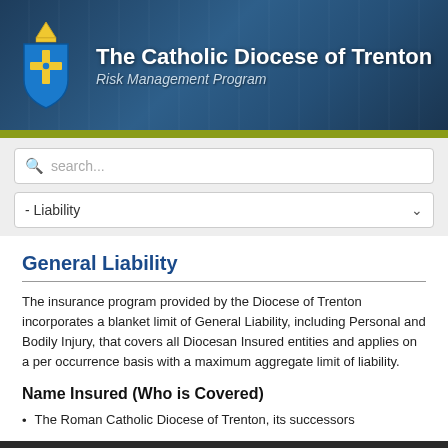[Figure (logo): The Catholic Diocese of Trenton Risk Management Program banner with coat of arms logo and background of stone figures]
[Figure (screenshot): Search bar with placeholder text 'search...']
[Figure (screenshot): Dropdown selector showing '- Liability']
General Liability
The insurance program provided by the Diocese of Trenton incorporates a blanket limit of General Liability, including Personal and Bodily Injury, that covers all Diocesan Insured entities and applies on a per occurrence basis with a maximum aggregate limit of liability.
Name Insured (Who is Covered)
The Roman Catholic Diocese of Trenton, its successors